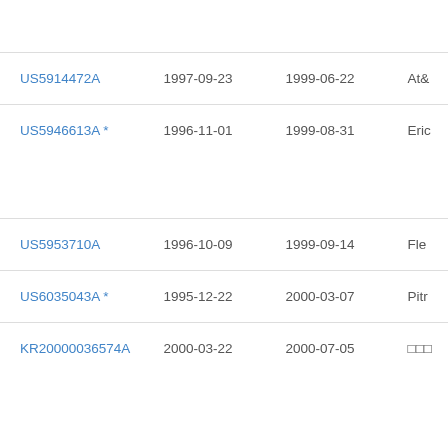| Patent Number | Filing Date | Publication Date | Assignee |
| --- | --- | --- | --- |
| US5914472A | 1997-09-23 | 1999-06-22 | At& |
| US5946613A * | 1996-11-01 | 1999-08-31 | Eric |
| US5953710A | 1996-10-09 | 1999-09-14 | Fle |
| US6035043A * | 1995-12-22 | 2000-03-07 | Pitr |
| KR20000036574A | 2000-03-22 | 2000-07-05 | □□□ |